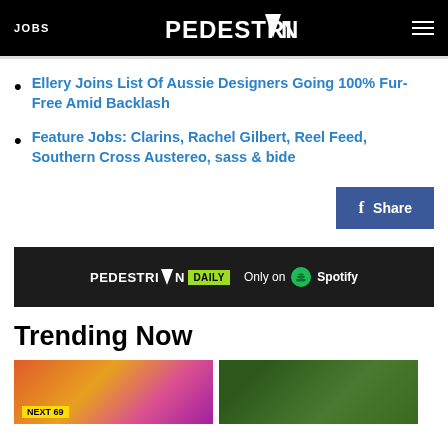JOBS | PEDESTRIAN | Menu
Ellery Joins List Of Aussie Designers Going 100% Fur-Free Amid Backlash
Feature Jobs: Clarins, Rachel Gilbert, Reel Feed, Southern Cross Austereo, sass & bide
[Figure (other): Facebook Share button]
[Figure (other): PEDESTRIAN DAILY - Only on Spotify podcast banner]
Trending Now
[Figure (photo): Two trending article thumbnail images side by side]